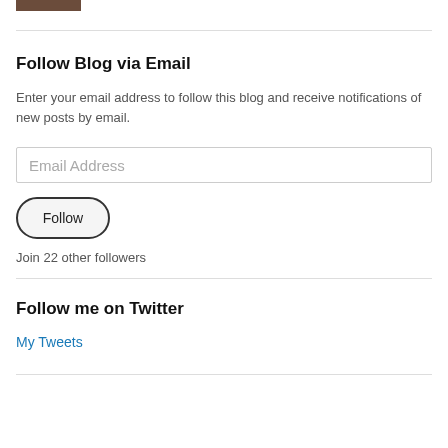[Figure (photo): Partial photo strip at top of page]
Follow Blog via Email
Enter your email address to follow this blog and receive notifications of new posts by email.
Email Address
Follow
Join 22 other followers
Follow me on Twitter
My Tweets